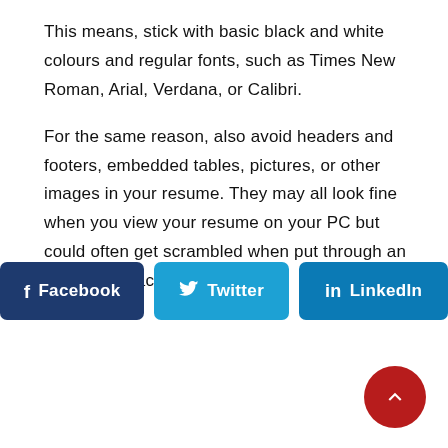This means, stick with basic black and white colours and regular fonts, such as Times New Roman, Arial, Verdana, or Calibri.
For the same reason, also avoid headers and footers, embedded tables, pictures, or other images in your resume. They may all look fine when you view your resume on your PC but could often get scrambled when put through an Applicant Tracking System.
[Figure (infographic): Three social sharing buttons side by side: Facebook (dark navy), Twitter (cyan blue), LinkedIn (medium blue), each with respective icon and label text in white.]